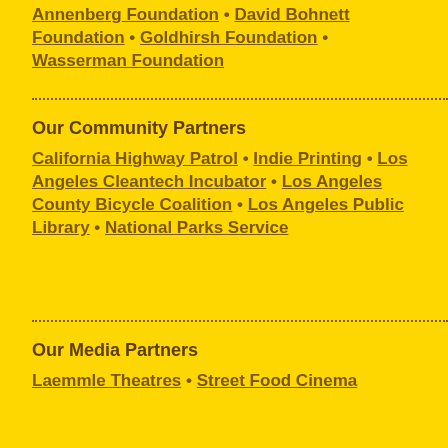Annenberg Foundation • David Bohnett Foundation • Goldhirsh Foundation • Wasserman Foundation
Our Community Partners
California Highway Patrol • Indie Printing • Los Angeles Cleantech Incubator • Los Angeles County Bicycle Coalition • Los Angeles Public Library • National Parks Service
Our Media Partners
Laemmle Theatres • Street Food Cinema